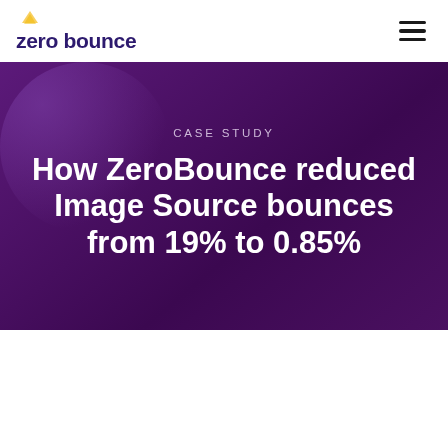zero bounce
CASE STUDY
How ZeroBounce reduced Image Source bounces from 19% to 0.85%